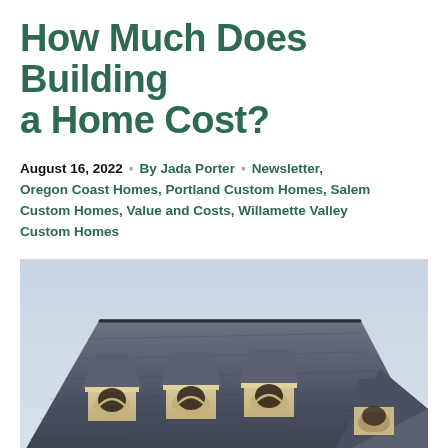How Much Does Building a Home Cost?
August 16, 2022 · By Jada Porter · Newsletter, Oregon Coast Homes, Portland Custom Homes, Salem Custom Homes, Value and Costs, Willamette Valley Custom Homes
[Figure (photo): Exterior photo of a large custom home with steeply pitched dark grey slate roof, multiple dormers with arched windows, and tan/cream stucco facade with white trim. Multiple arched windows visible on the upper and lower stories.]